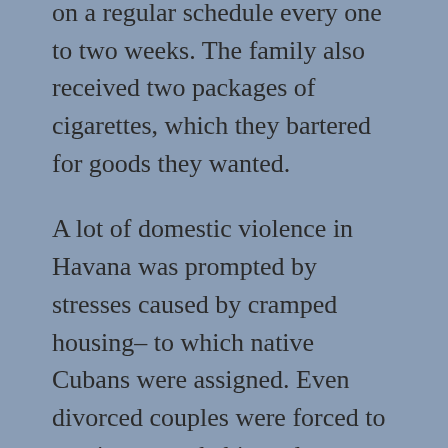on a regular schedule every one to two weeks. The family also received two packages of cigarettes, which they bartered for goods they wanted.
A lot of domestic violence in Havana was prompted by stresses caused by cramped housing– to which native Cubans were assigned. Even divorced couples were forced to continue to cohabitate due to a housing shortage.
Read the book to learn: why the author eventually moved where she did, more about her work, her family and her beliefs. For her, the ideal of Communism wasn't all it was cracked up to be. She soon realized that Cuba